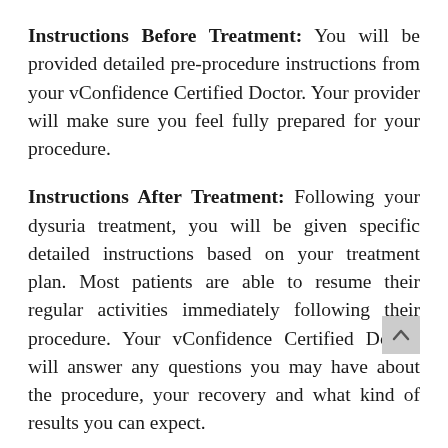Instructions Before Treatment: You will be provided detailed pre-procedure instructions from your vConfidence Certified Doctor. Your provider will make sure you feel fully prepared for your procedure.
Instructions After Treatment: Following your dysuria treatment, you will be given specific detailed instructions based on your treatment plan. Most patients are able to resume their regular activities immediately following their procedure. Your vConfidence Certified Doctor will answer any questions you may have about the procedure, your recovery and what kind of results you can expect.
If symptoms of pain, discomfort or burning while urinating become problematic, know that they can be treated by the